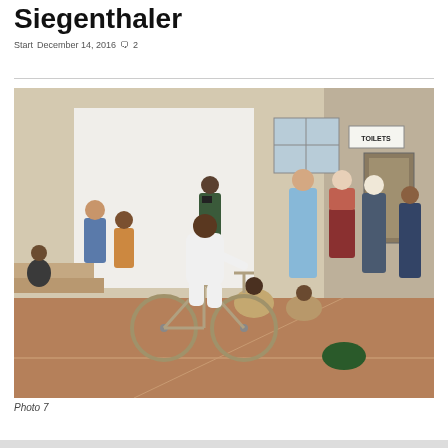Siegenthaler
Start  December 14, 2016  🗨  2
[Figure (photo): A person in white clothing rides a bicycle inside a large indoor hall with a tiled floor. A crowd of spectators line the walls watching and some are photographing the performance. A 'TOILETS' sign is visible on the right wall.]
Photo 7